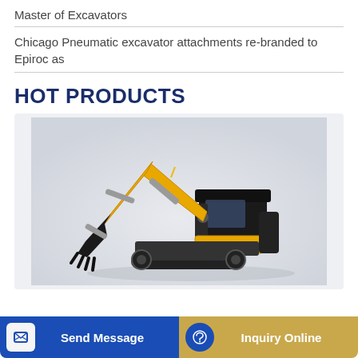Master of Excavators
Chicago Pneumatic excavator attachments re-branded to Epiroc as
HOT PRODUCTS
[Figure (photo): Yellow and black mini excavator on a light grey background, shown in side profile with arm extended and bucket lowered.]
Send Message
Inquiry Online